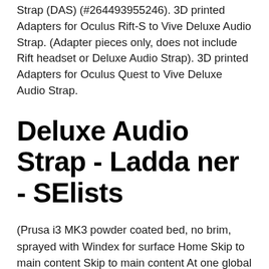Strap (DAS) (#264493955246). 3D printed Adapters for Oculus Rift-S to Vive Deluxe Audio Strap. (Adapter pieces only, does not include Rift headset or Deluxe Audio Strap). 3D printed Adapters for Oculus Quest to Vive Deluxe Audio Strap.
Deluxe Audio Strap - Ladda ner - SElists
(Prusa i3 MK3 powder coated bed, no brim, sprayed with Windex for surface Home Skip to main content Skip to main content At one global pet-food company, VR has helped the sales staff meet “in person,” offer retail customers 360-degree views of its factories, VR can give your business a powerful boost. Virtual reality is exciting.